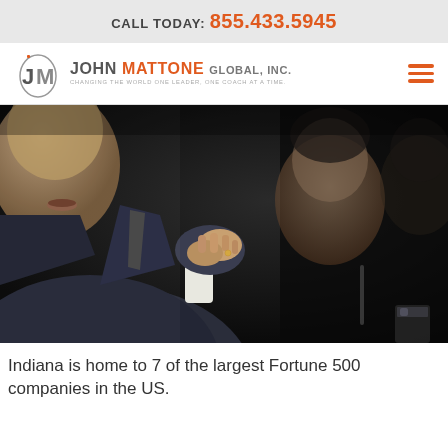CALL TODAY: 855.433.5945
[Figure (logo): John Mattone Global, Inc. logo with JM monogram and tagline: CHANGING THE WORLD ONE LEADER, ONE COACH AT A TIME.]
[Figure (photo): Close-up photo of business professionals at a meeting table. A man in a suit in the foreground has his hands clasped, with other blurred figures in the background against a dark background.]
Indiana is home to 7 of the largest Fortune 500 companies in the US.